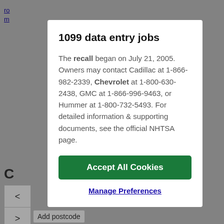1099 data entry jobs
The recall began on July 21, 2005. Owners may contact Cadillac at 1-866-982-2339, Chevrolet at 1-800-630-2438, GMC at 1-866-996-9463, or Hummer at 1-800-732-5493. For detailed information & supporting documents, see the official NHTSA page.
Accept All Cookies
Manage Preferences